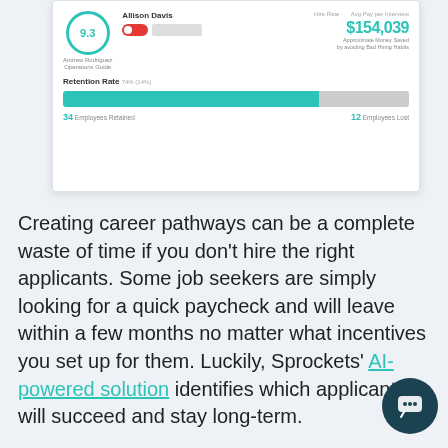[Figure (screenshot): Dashboard screenshot showing a score circle with 9.3, a person named Andrew Rodriguez with Operations Guide label, a toggle for Allison Davis shown in red/off state, a $154,039 savings figure, and a Retention Rate bar showing 74% retention with 34 Employees Retained and 12 Employees Lost.]
Creating career pathways can be a complete waste of time if you don't hire the right applicants. Some job seekers are simply looking for a quick paycheck and will leave within a few months no matter what incentives you set up for them. Luckily, Sprockets' AI-powered solution identifies which applicants will succeed and stay long-term.
Sprockets eliminates wasted interview time, reduces costly turnover, and enables you to focus on daily operations. It's proven to work and trusted by numerous